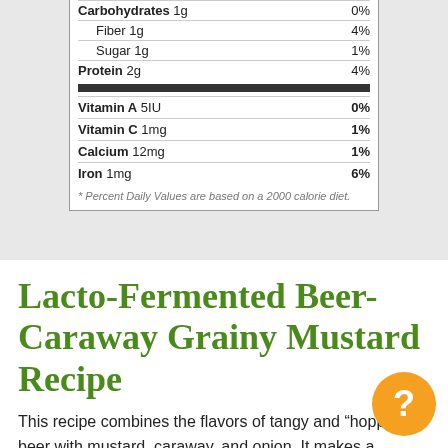| Nutrient | Amount | DV% |
| --- | --- | --- |
| Carbohydrates | 1g | 0% |
| Fiber | 1g | 4% |
| Sugar | 1g | 1% |
| Protein | 2g | 4% |
| Vitamin A | 5IU | 0% |
| Vitamin C | 1mg | 1% |
| Calcium | 12mg | 1% |
| Iron | 1mg | 6% |
* Percent Daily Values are based on a 2000 calorie diet.
Lacto-Fermented Beer-Caraway Grainy Mustard Recipe
This recipe combines the flavors of tangy and “hoppy” beer with mustard, caraway, and onion. It makes a fantastic spread on burgers but with the addition of caraway, we find it pairs very well with pork or used to make a salad dressing.